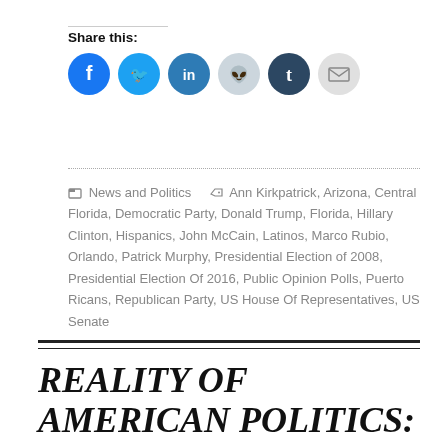Share this:
[Figure (infographic): Row of six social share icon circles: Facebook (blue), Twitter (blue), LinkedIn (dark teal), Reddit (light blue/gray), Tumblr (dark navy), Email (light gray)]
News and Politics   Ann Kirkpatrick, Arizona, Central Florida, Democratic Party, Donald Trump, Florida, Hillary Clinton, Hispanics, John McCain, Latinos, Marco Rubio, Orlando, Patrick Murphy, Presidential Election of 2008, Presidential Election Of 2016, Public Opinion Polls, Puerto Ricans, Republican Party, US House Of Representatives, US Senate
REALITY OF AMERICAN POLITICS: WIN MAJORITY OF HISPANIC AND LATINO